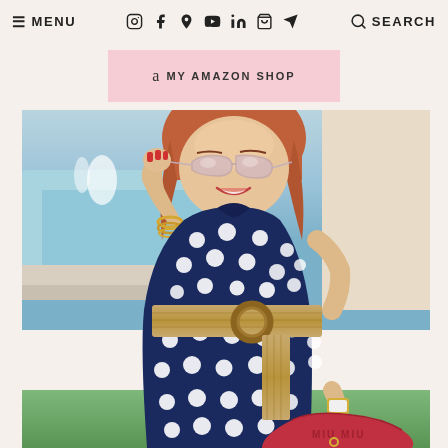☰ MENU   [social icons]   🔍 SEARCH
[Figure (other): Amazon shop button with pink background, Amazon logo icon and text MY AMAZON SHOP]
[Figure (photo): Woman wearing a navy blue polka dot halter dress with a woven straw belt with wooden ring buckle, cat-eye sunglasses, gold bracelets, and holding a red Miu Miu bag. She is posing outdoors near a fountain with green grass in the background.]